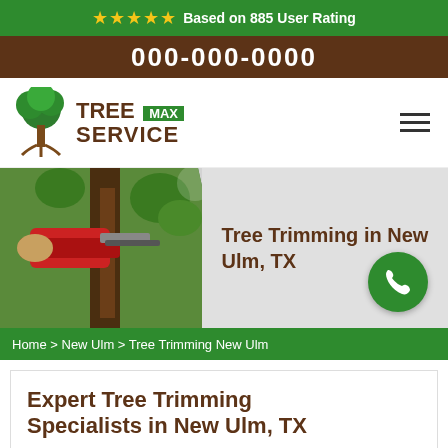★★★★★ Based on 885 User Rating
000-000-0000
[Figure (logo): Max Tree Service logo with green tree icon and brown text]
[Figure (photo): Person using a chainsaw on a tree, hero banner image for Tree Trimming in New Ulm, TX]
Tree Trimming in New Ulm, TX
Home > New Ulm > Tree Trimming New Ulm
Expert Tree Trimming Specialists in New Ulm, TX